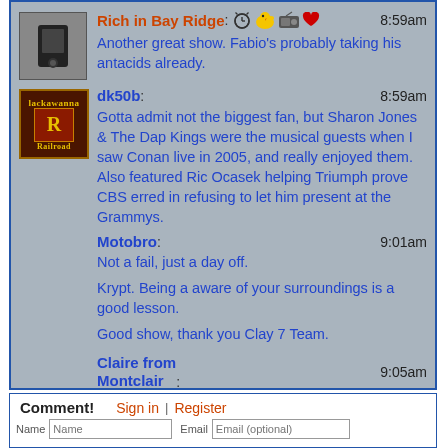Rich in Bay Ridge: [icons] 8:59am
Another great show. Fabio's probably taking his antacids already.
dk50b: 8:59am
Gotta admit not the biggest fan, but Sharon Jones & The Dap Kings were the musical guests when I saw Conan live in 2005, and really enjoyed them. Also featured Ric Ocasek helping Triumph prove CBS erred in refusing to let him present at the Grammys.
Motobro: 9:01am
Not a fail, just a day off.

Krypt. Being a aware of your surroundings is a good lesson.

Good show, thank you Clay 7 Team.
Claire from Montclair: 9:05am
Great show! Loving everything!!!
Comment! Sign in | Register
Name  Email (optional)